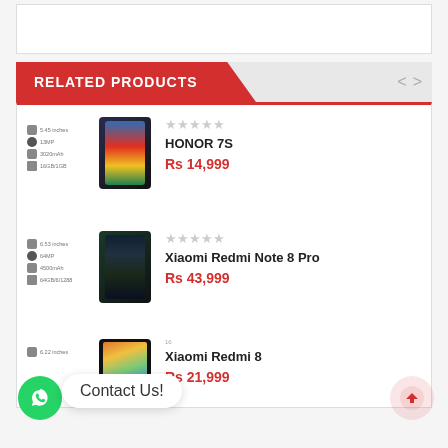RELATED PRODUCTS
[Figure (photo): HONOR 7S smartphone product image with spec icons (screen size, camera, battery, storage)]
HONOR 7S
Rs 14,999
[Figure (photo): Xiaomi Redmi Note 8 Pro smartphone product image with spec icons]
Xiaomi Redmi Note 8 Pro
Rs 43,999
[Figure (photo): Xiaomi Redmi 8 smartphone product image with colorful gradient screen]
Xiaomi Redmi 8
Rs 21,999
Contact Us!